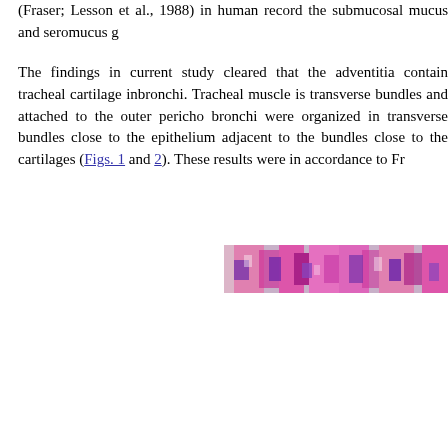(Fraser; Lesson et al., 1988) in human record the submucosal mucus and seromucus g
The findings in current study cleared that the adventitia contain tracheal cartilage inbronchi. Tracheal muscle is transverse bundles and attached to the outer pericho bronchi were organized in transverse bundles close to the epithelium adjacent to the bundles close to the cartilages (Figs. 1 and 2). These results were in accordance to Fr
[Figure (photo): Microscopy tissue image strip showing pink and purple stained histological section, partially visible, cropped at the right edge of the page.]